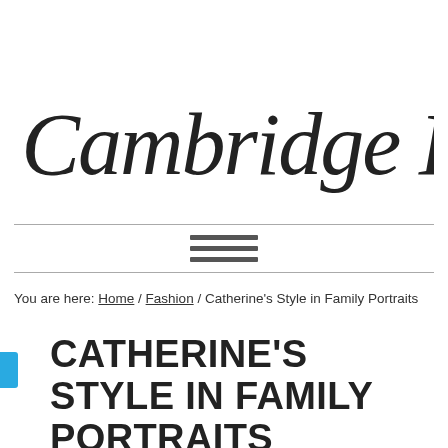The Cambridge Kids
You are here: Home / Fashion / Catherine's Style in Family Portraits
CATHERINE'S STYLE IN FAMILY PORTRAITS
July 23, 2014 by Trisha@TCK — Leave a Comment